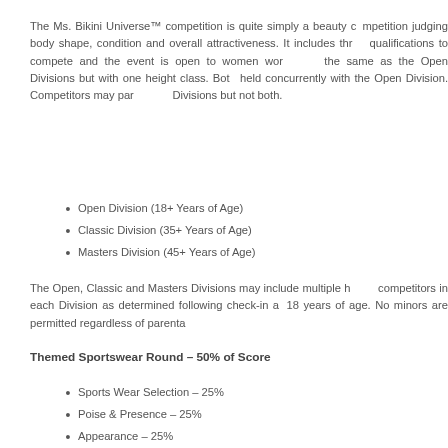The Ms. Bikini Universe™ competition is quite simply a beauty competition judging body shape, condition and overall attractiveness. It includes three Divisions. There are no qualifications to compete and the event is open to women worldwide. The Classic Division rules are the same as the Open Divisions but with one height class. Both Classic and Masters Divisions are held concurrently with the Open Division. Competitors may participate in either the Classic or Masters Divisions but not both.
Open Division (18+ Years of Age)
Classic Division (35+ Years of Age)
Masters Division (45+ Years of Age)
The Open, Classic and Masters Divisions may include multiple height classes based on the number of competitors in each Division as determined following check-in at each event. All competitors must be 18 years of age. No minors are permitted regardless of parental consent.
Themed Sportswear Round – 50% of Score
Sports Wear Selection – 25%
Poise & Presence – 25%
Appearance – 25%
Personality – 25%